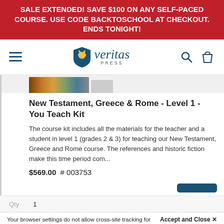SALE EXTENDED! SAVE $100 ON ANY SELF-PACED COURSE. USE CODE BACKTOSCHOOL AT CHECKOUT. ENDS TONIGHT!
[Figure (logo): Veritas Press logo with shield icon and italic veritas text]
[Figure (photo): Partial product image strip showing book covers]
New Testament, Greece & Rome - Level 1 - You Teach Kit
The course kit includes all the materials for the teacher and a student in level 1 (grades 2 & 3) for teaching our New Testament, Greece and Rome course. The references and historic fiction make this time period com...
$569.00  # 003753
Qty  1
Accept and Close ✕
Your browser settings do not allow cross-site tracking for advertising. Click on this page to allow AdRoll to use cross-site tracking to tailor ads to you. Learn more or opt out of this AdRoll tracking by clicking here. This message only appears once.